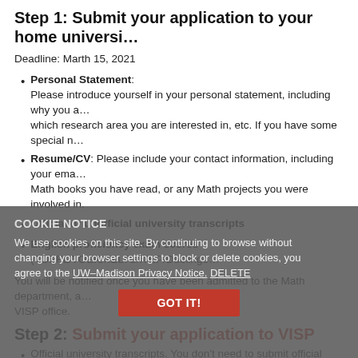Step 1: Submit your application to your home universi…
Deadline: Marth 15, 2021
Personal Statement: Please introduce yourself in your personal statement, including why you a… which research area you are interested in, etc. If you have some special n…
Resume/CV: Please include your contact information, including your ema… Math books you have read, or any Math projects you were involved in.
Official or unofficial university transcripts
English proficiency exam scores (TOEFL/TOEIC/IELTS/iTEP/Duolingo…
You will be notified once you have been admitted to the Math department, a… VISP office.
Step 2: Submit your application to VISP
COOKIE NOTICE
We use cookies on this site. By continuing to browse without changing your browser settings to block or delete cookies, you agree to the UW–Madison Privacy Notice. DELETE
Official university transcripts. You don't need to submit official transc…
Passport information page
Financial support documents
English proficiency exam scores (TOEFL/TOEIC/IELTS/ITEP/Duolingo). Y… the Math department.
Please email the Program Coordinator Xin Cui-Dowling at xin.cui-dowling@…